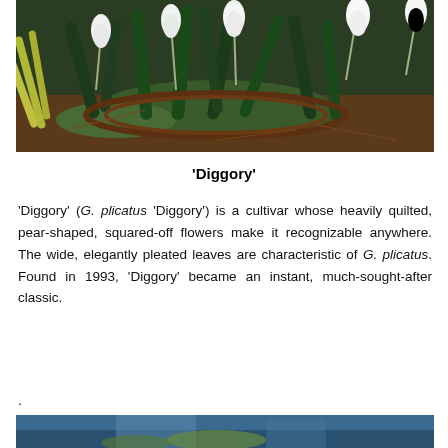[Figure (photo): Close-up photograph of snowdrop flowers (Galanthus) with white drooping blooms, dark green strap-like leaves, and moss, arranged in a wicker basket or ring on a bed of autumn leaves and twigs.]
‘Diggory’
‘Diggory’ (G. plicatus ‘Diggory’) is a cultivar whose heavily quilted, pear-shaped, squared-off flowers make it recognizable anywhere. The wide, elegantly pleated leaves are characteristic of G. plicatus. Found in 1993, ‘Diggory’ became an instant, much-sought-after classic.
.
[Figure (photo): Partial photograph at bottom of page showing blue and green tones, appears to be another plant photograph cropped at page edge.]